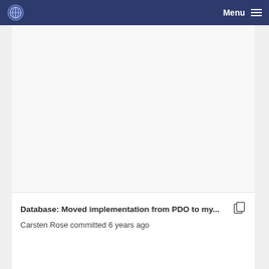Menu
[Figure (other): Blank/whitespace content area above commit section]
Database: Moved implementation from PDO to my...
Carsten Rose committed 6 years ago